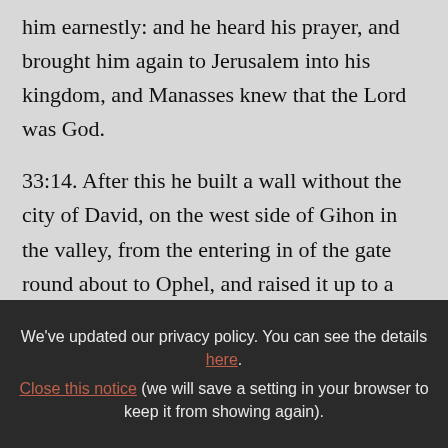him earnestly: and he heard his prayer, and brought him again to Jerusalem into his kingdom, and Manasses knew that the Lord was God.
33:14. After this he built a wall without the city of David, on the west side of Gihon in the valley, from the entering in of the gate round about to Ophel, and raised it up to a great height: and he appointed captains of the army in all the fenced cities of Juda:
We've updated our privacy policy. You can see the details here. Close this notice (we will save a setting in your browser to keep it from showing again).